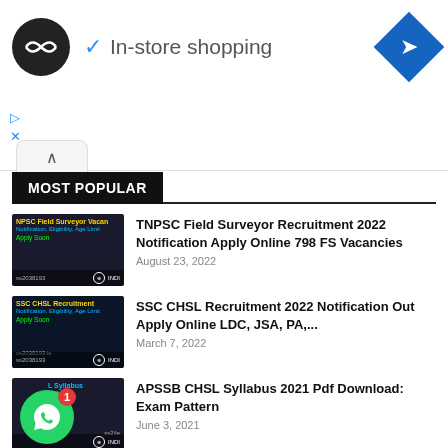[Figure (screenshot): Ad banner: loop logo circle, checkmark, 'In-store shopping' text, blue diamond navigation icon, ad controls]
MOST POPULAR
[Figure (photo): TNPSC Field Surveyor Vacancy thumbnail]
TNPSC Field Surveyor Recruitment 2022 Notification Apply Online 798 FS Vacancies
August 23, 2022
[Figure (photo): SSC CHSL Recruitment thumbnail]
SSC CHSL Recruitment 2022 Notification Out Apply Online LDC, JSA, PA,...
March 7, 2022
[Figure (photo): APSSB CHSL Syllabus thumbnail with WhatsApp overlay]
APSSB CHSL Syllabus 2021 Pdf Download: Exam Pattern
June 3, 2021